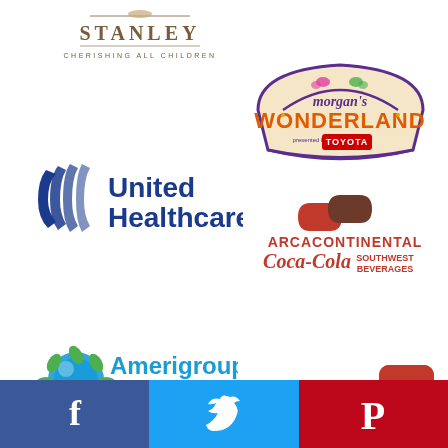[Figure (logo): Stanley – Cherishing All Children logo with text]
[Figure (logo): Morgan's Wonderland presented by Toyota logo]
[Figure (logo): United Healthcare logo with blue ribbon icon]
[Figure (logo): ARCACONTINENTAL Coca-Cola Southwest Beverages logo]
[Figure (logo): Amerigroup Foundation logo with flower/globe icon]
[Figure (illustration): Scroll-to-top button (red rounded square with up arrow)]
[Figure (infographic): Social media bar with Facebook, Twitter, Pinterest buttons]